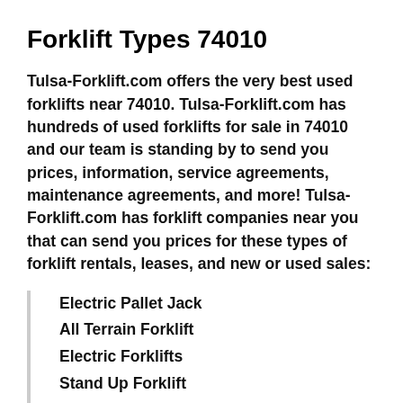Forklift Types 74010
Tulsa-Forklift.com offers the very best used forklifts near 74010. Tulsa-Forklift.com has hundreds of used forklifts for sale in 74010 and our team is standing by to send you prices, information, service agreements, maintenance agreements, and more! Tulsa-Forklift.com has forklift companies near you that can send you prices for these types of forklift rentals, leases, and new or used sales:
Electric Pallet Jack
All Terrain Forklift
Electric Forklifts
Stand Up Forklift
Reach Truck
Pallet Jacks